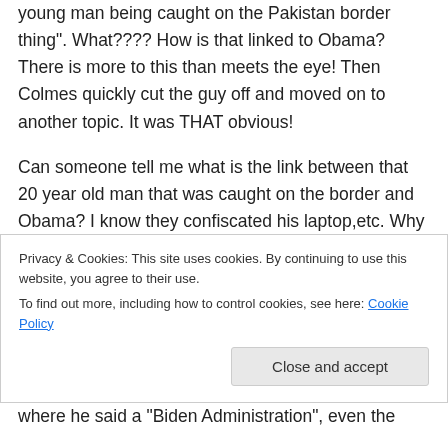young man being caught on the Pakistan border thing". What???? How is that linked to Obama? There is more to this than meets the eye! Then Colmes quickly cut the guy off and moved on to another topic. It was THAT obvious!
Can someone tell me what is the link between that 20 year old man that was caught on the border and Obama? I know they confiscated his laptop,etc. Why would he say it? The mainstream media knows something we don’t
Privacy & Cookies: This site uses cookies. By continuing to use this website, you agree to their use.
To find out more, including how to control cookies, see here: Cookie Policy
Close and accept
where he said a “Biden Administration”, even the